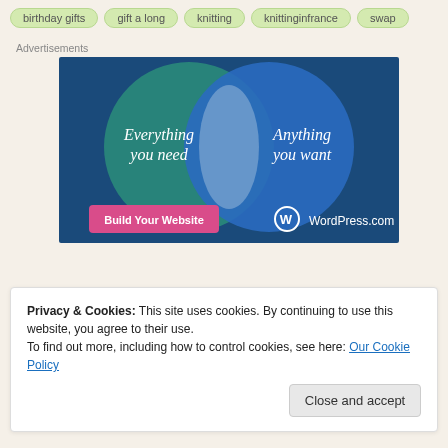birthday gifts
gift a long
knitting
knittinginfrance
swap
Advertisements
[Figure (illustration): WordPress.com advertisement showing a Venn diagram with two overlapping circles. Left circle (teal/green) labeled 'Everything you need', right circle (blue) labeled 'Anything you want'. A pink button at bottom left reads 'Build Your Website'. WordPress.com logo and text at bottom right.]
Privacy & Cookies: This site uses cookies. By continuing to use this website, you agree to their use.
To find out more, including how to control cookies, see here: Our Cookie Policy
Close and accept